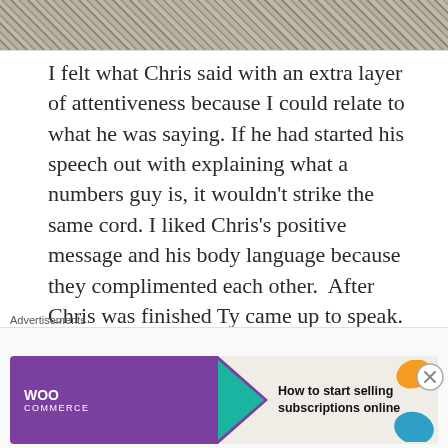[Figure (photo): Partial photo of a textured carpet or woven fabric surface, cropped at top]
I felt what Chris said with an extra layer of attentiveness because I could relate to what he was saying. If he had started his speech out with explaining what a numbers guy is, it wouldn't strike the same cord. I liked Chris's positive message and his body language because they complimented each other.  After Chris was finished Ty came up to speak.
Advertisements
[Figure (screenshot): WooCommerce advertisement banner: purple background with WooCommerce logo and teal arrow, text reads 'How to start selling subscriptions online' with orange and blue decorative shapes on the right]